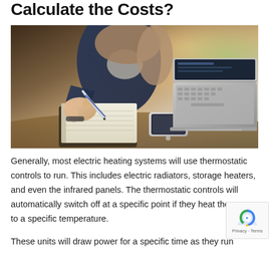Calculate the Costs?
[Figure (photo): Person writing in a notebook with a pen, with a smartphone and laptop visible on a desk in the background. The scene suggests calculating or planning costs.]
Generally, most electric heating systems will use thermostatic controls to run. This includes electric radiators, storage heaters, and even the infrared panels. The thermostatic controls will automatically switch off at a specific point if they heat the room to a specific temperature.
These units will draw power for a specific time as they run